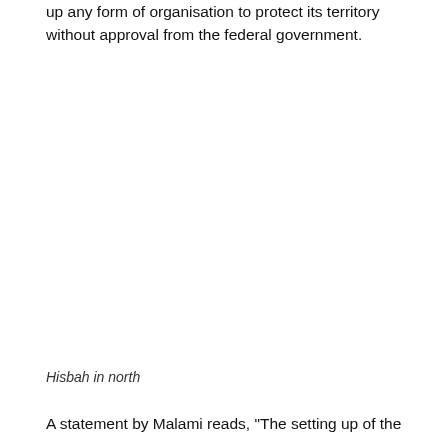up any form of organisation to protect its territory without approval from the federal government.
Hisbah in north
A statement by Malami reads, "The setting up of the